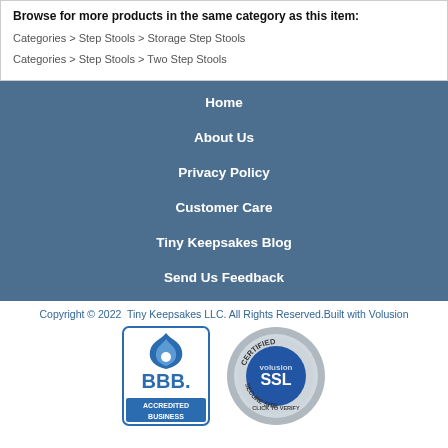Browse for more products in the same category as this item:
Categories > Step Stools > Storage Step Stools
Categories > Step Stools > Two Step Stools
Home
About Us
Privacy Policy
Customer Care
Tiny Keepsakes Blog
Send Us Feedback
Copyright © 2022  Tiny Keepsakes LLC. All Rights Reserved.Built with Volusion
[Figure (logo): BBB Accredited Business logo]
[Figure (logo): Volusion SSL Certified Secure Site badge]